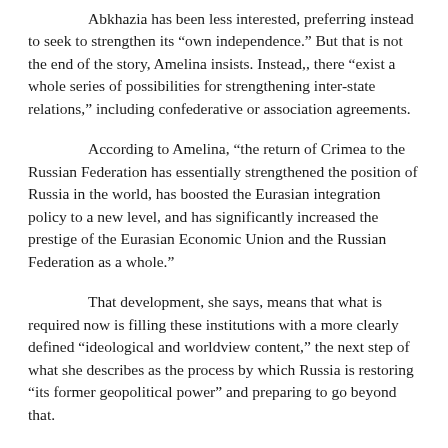Abkhazia has been less interested, preferring instead to seek to strengthen its “own independence.” But that is not the end of the story, Amelina insists. Instead,, there “exist a whole series of possibilities for strengthening inter-state relations,” including confederative or association agreements.
According to Amelina, “the return of Crimea to the Russian Federation has essentially strengthened the position of Russia in the world, has boosted the Eurasian integration policy to a new level, and has significantly increased the prestige of the Eurasian Economic Union and the Russian Federation as a whole.”
That development, she says, means that what is required now is filling these institutions with a more clearly defined “ideological and worldview content,” the next step of what she describes as the process by which Russia is restoring “its former geopolitical power” and preparing to go beyond that.
And she concludes with a pointed warning to Georgia. After Crimea, she says, “the issue of the further fragmentation of the Georgian state is acquiring particular importance. It is no